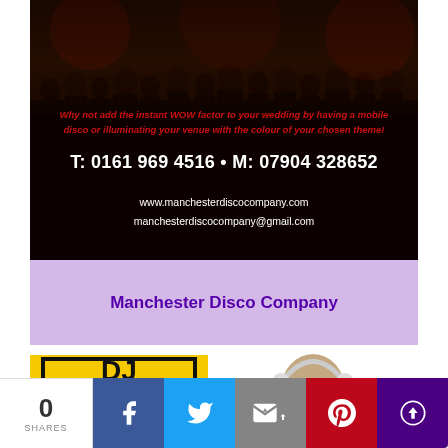[Figure (photo): Dark crowd/party scene with red lighting overlay used as background for Manchester Disco Company advertisement. Shows silhouettes of people at an event.]
Why not add the instant WOW factor to your wedding by having a mobile disco or illuminating your venue with the colour of your chosen theme!
T: 0161 969 4516 • M: 07904 328652
www.manchesterdiscocompany.com
manchesterdiscocompany@gmail.com
Manchester Disco Company
[Figure (logo): DJ COAST logo on yellow background with black border, showing text DJ COAST 2]
[Figure (photo): Black and white photo of a smiling man wearing headphones]
0 SHARES